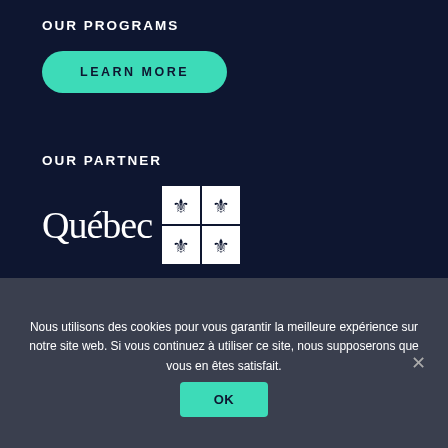OUR PROGRAMS
LEARN MORE
OUR PARTNER
[Figure (logo): Québec government logo with fleur-de-lis grid icon]
NEWSLETTER
Nous utilisons des cookies pour vous garantir la meilleure expérience sur notre site web. Si vous continuez à utiliser ce site, nous supposerons que vous en êtes satisfait.
OK